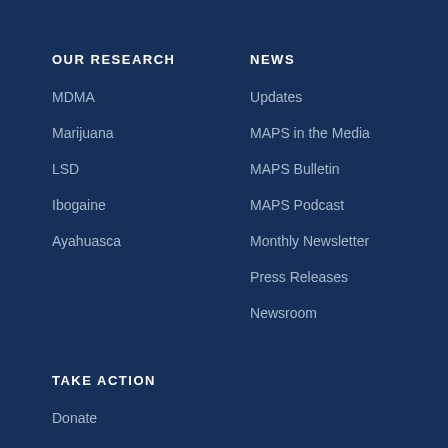OUR RESEARCH
MDMA
Marijuana
LSD
Ibogaine
Ayahuasca
NEWS
Updates
MAPS in the Media
MAPS Bulletin
MAPS Podcast
Monthly Newsletter
Press Releases
Newsroom
TAKE ACTION
Donate
Host a Party
Participate in a Trial